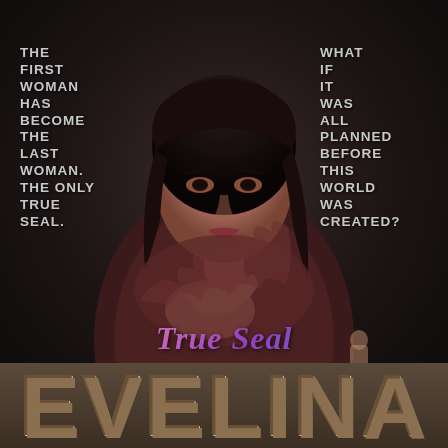[Figure (illustration): Book cover for 'True Seal: Evelina'. Dark background with a woman with dark hair wearing a dark maroon outfit, her hand on her chest. Left side text reads 'The first woman has become the last woman. The only true seal.' Right side text reads 'What if it was all planned before this world was created?' Center cursive text says 'True Seal'. Bottom has large distressed lettering 'EVELINA'.]